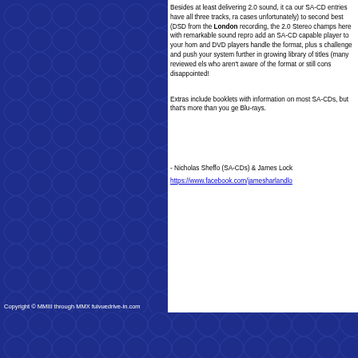[Figure (illustration): Dark navy blue decorative swirl/scroll pattern background covering the left portion of the page]
Besides at least delivering 2.0 sound, it ca our SA-CD entries have all three tracks, ra cases unfortunately) to second best (DSD from the London recording, the 2.0 Stereo champs here with remarkable sound repro add an SA-CD capable player to your hom and DVD players handle the format, plus s challenge and push your system further in growing library of titles (many reviewed els who aren't aware of the format or still cons disappointed!
Extras include booklets with information on most SA-CDs, but that's more than you ge Blu-rays.
- Nicholas Sheffo (SA-CDs) & James Lock
https://www.facebook.com/jamesharlandlo
Copyright © MMIII through MMX fulvuedrive-in.com